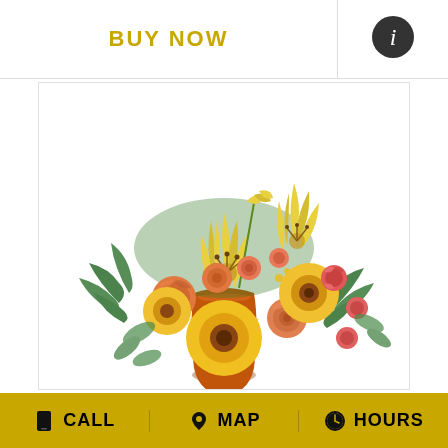BUY NOW
[Figure (other): Info icon - dark circle with white letter i]
[Figure (photo): Floral arrangement in an orange/terracotta vase featuring yellow lilies, orange roses, sunflowers, gerbera daisies, pink carnations, and greenery on a white background]
CALL
MAP
HOURS